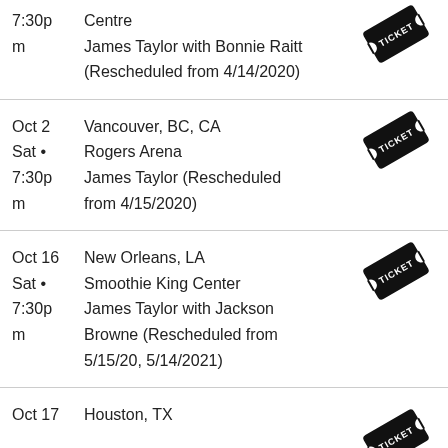7:30pm | Centre | James Taylor with Bonnie Raitt (Rescheduled from 4/14/2020)
Oct 2 Sat 7:30pm | Vancouver, BC, CA | Rogers Arena | James Taylor (Rescheduled from 4/15/2020)
Oct 16 Sat 7:30pm | New Orleans, LA | Smoothie King Center | James Taylor with Jackson Browne (Rescheduled from 5/15/20, 5/14/2021)
Oct 17 | Houston, TX